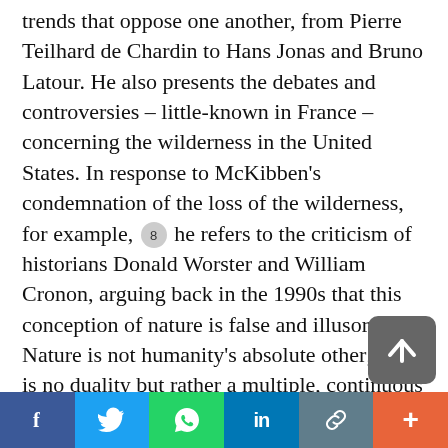trends that oppose one another, from Pierre Teilhard de Chardin to Hans Jonas and Bruno Latour. He also presents the debates and controversies – little-known in France – concerning the wilderness in the United States. In response to McKibben's condemnation of the loss of the wilderness, for example, [8] he refers to the criticism of historians Donald Worster and William Cronon, arguing back in the 1990s that this conception of nature is false and illusory. Nature is not humanity's absolute other; there is no duality but rather a multiple, continuous intertwining, as Cronon wrote:
[Figure (other): Social media share bar with icons: Facebook (f), Twitter (bird), WhatsApp (phone), LinkedIn (in), link/chain icon, and plus (+) button]